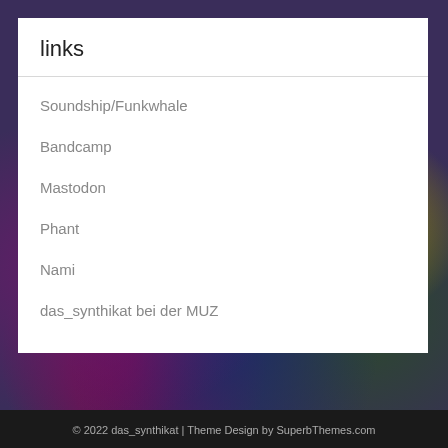links
Soundship/Funkwhale
Bandcamp
Mastodon
Phant
Nami
das_synthikat bei der MUZ
© 2022 das_synthikat | Theme Design by SuperbThemes.com